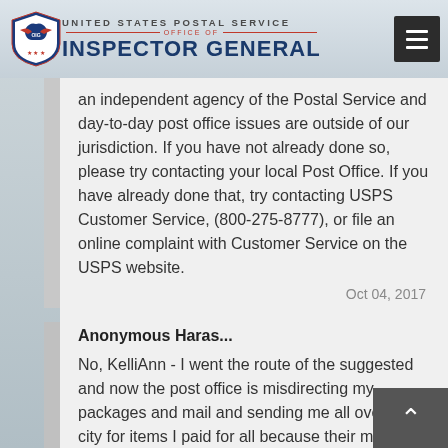UNITED STATES POSTAL SERVICE OFFICE OF INSPECTOR GENERAL
an independent agency of the Postal Service and day-to-day post office issues are outside of our jurisdiction. If you have not already done so, please try contacting your local Post Office. If you have already done that, try contacting USPS Customer Service, (800-275-8777), or file an online complaint with Customer Service on the USPS website.
Oct 04, 2017
Anonymous Haras...
No, KelliAnn - I went the route of the suggested and now the post office is misdirecting my packages and mail and sending me all over the city for items I paid for all because their mail carrier lied and either stole or misdelivered my items & wouldn't